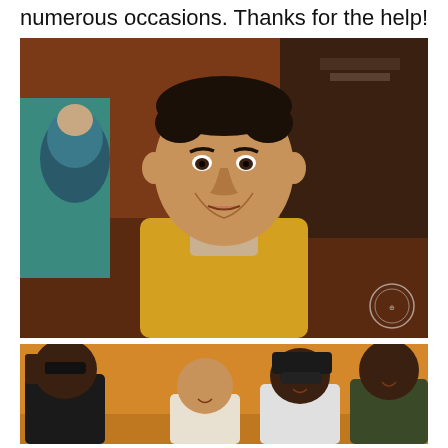numerous occasions. Thanks for the help!
[Figure (photo): Close-up portrait of a young man in a yellow top with a worried or emotional expression, standing in a busy market or street scene. A woman in a teal hijab is visible in the background on the left. There is a circular watermark/logo in the bottom right corner.]
[Figure (photo): Group photo of four men posing together against an orange/mustard wall. The man on the left is wearing a black shirt and making a hand gesture near his head. The others are smiling and posing casually.]